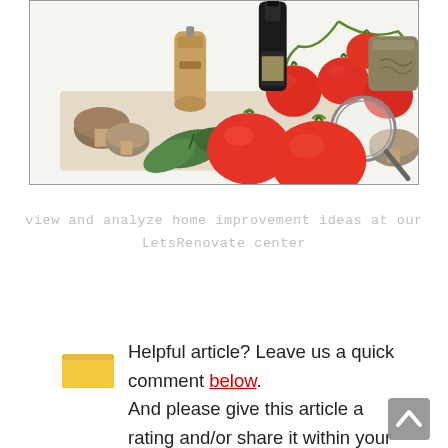[Figure (photo): Food photography showing tomatoes on vine, basil leaves, mushrooms, a wooden pepper mill, a dark bottle, a ceramic/stoneware mug, and a magnifying glass arranged on a white surface.]
view and analyze home improvement ideas at our LetsRenovate center
Helpful article? Leave us a quick comment below. And please give this article a rating and/or share it within your